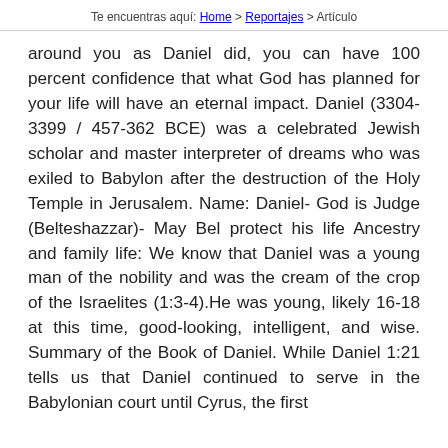Te encuentras aquí: Home > Reportajes > Artículo
around you as Daniel did, you can have 100 percent confidence that what God has planned for your life will have an eternal impact. Daniel (3304-3399 / 457-362 BCE) was a celebrated Jewish scholar and master interpreter of dreams who was exiled to Babylon after the destruction of the Holy Temple in Jerusalem. Name: Daniel- God is Judge (Belteshazzar)- May Bel protect his life Ancestry and family life: We know that Daniel was a young man of the nobility and was the cream of the crop of the Israelites (1:3-4).He was young, likely 16-18 at this time, good-looking, intelligent, and wise. Summary of the Book of Daniel. While Daniel 1:21 tells us that Daniel continued to serve in the Babylonian court until Cyrus, the first